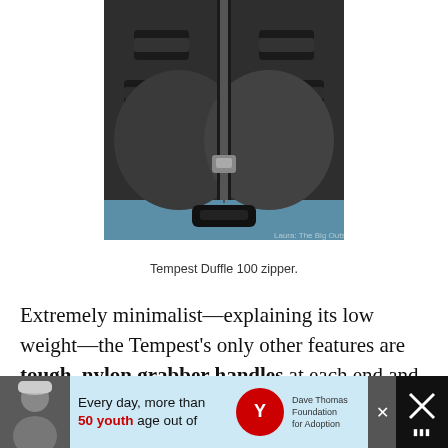[Figure (photo): Close-up photo of the Tempest Duffle 100 zipper — a heavy-duty waterproof zipper running vertically down the center of a black rubberized bag, with strap handles visible on each side and a blue surface underneath.]
Tempest Duffle 100 zipper.
Extremely minimalist—explaining its low weight—the Tempest's only other features are tough, nylon grabber handles at each end and two D-rings inside and outside.
[Figure (other): Advertisement banner: person in winter hat on left, light blue background with text 'Every day, more than 50 youth age out of', Dave Thomas Foundation for Adoption logo, close button X, and dark weather icon on right.]